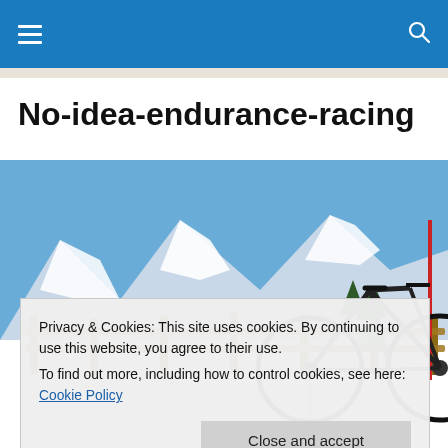≡   🔍
No-idea-endurance-racing
[Figure (photo): A road bicycle leaning against a wooden fence in a snowy alpine landscape with mountains in the background under a blue sky.]
Privacy & Cookies: This site uses cookies. By continuing to use this website, you agree to their use.
To find out more, including how to control cookies, see here: Cookie Policy
Close and accept